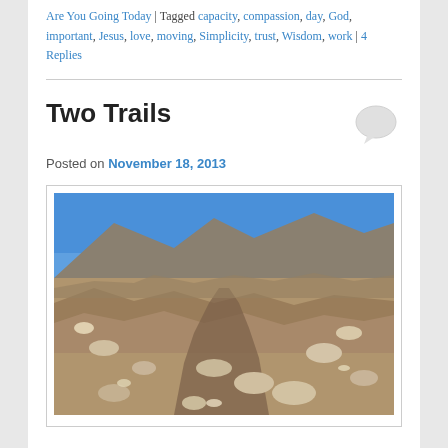Are You Going Today | Tagged capacity, compassion, day, God, important, Jesus, love, moving, Simplicity, trust, Wisdom, work | 4 Replies
Two Trails
Posted on November 18, 2013
[Figure (photo): Rocky mountain trail with loose stones and boulders on a steep hillside under a clear blue sky]